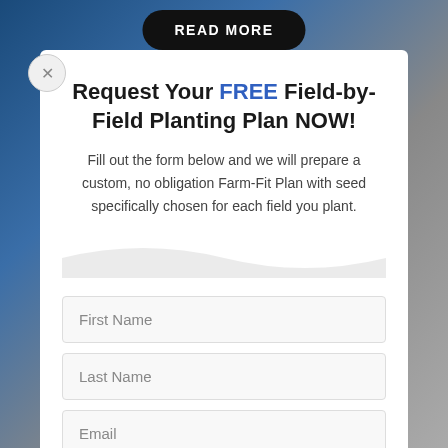[Figure (photo): Background photo of farm/seed product signage with blue and grey tones]
READ MORE
Request Your FREE Field-by-Field Planting Plan NOW!
Fill out the form below and we will prepare a custom, no obligation Farm-Fit Plan with seed specifically chosen for each field you plant.
First Name
Last Name
Email